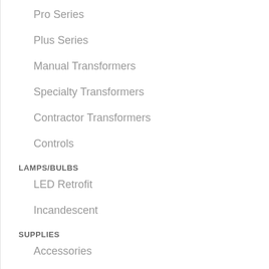Pro Series
Plus Series
Manual Transformers
Specialty Transformers
Contractor Transformers
Controls
LAMPS/BULBS
LED Retrofit
Incandescent
SUPPLIES
Accessories
Install Materials
Wire